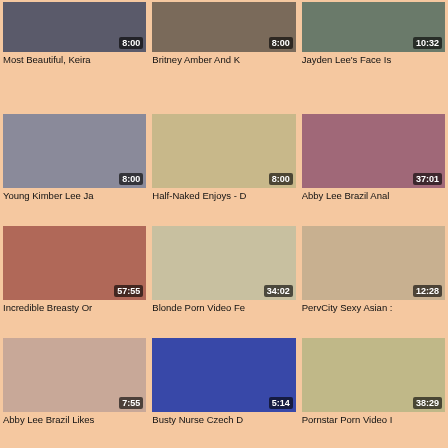[Figure (screenshot): Video thumbnail grid - row 1: Most Beautiful Keira (8:00), Britney Amber And K (8:00), Jayden Lee's Face Is (10:32)]
[Figure (screenshot): Video thumbnail grid - row 2: Young Kimber Lee Ja (8:00), Half-Naked Enjoys - D (8:00), Abby Lee Brazil Anal (37:01)]
[Figure (screenshot): Video thumbnail grid - row 3: Incredible Breasty Or (57:55), Blonde Porn Video Fe (34:02), PervCity Sexy Asian (12:28)]
[Figure (screenshot): Video thumbnail grid - row 4: Abby Lee Brazil Likes (7:55), Busty Nurse Czech D (5:14), Pornstar Porn Video (38:29)]